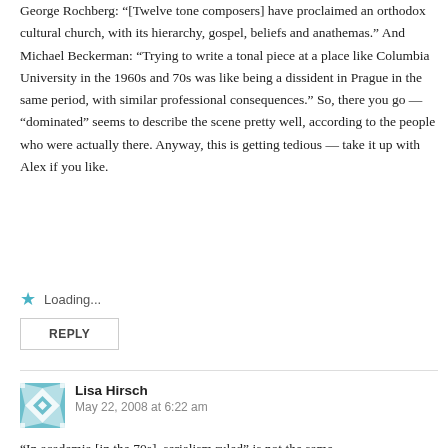George Rochberg: “[Twelve tone composers] have proclaimed an orthodox cultural church, with its hierarchy, gospel, beliefs and anathemas.” And Michael Beckerman: “Trying to write a tonal piece at a place like Columbia University in the 1960s and 70s was like being a dissident in Prague in the same period, with similar professional consequences.” So, there you go — “dominated” seems to describe the scene pretty well, according to the people who were actually there. Anyway, this is getting tedious — take it up with Alex if you like.
Loading...
REPLY
Lisa Hirsch
May 22, 2008 at 6:22 am
“In academia [in the 70s], serialism ruled” is not the same